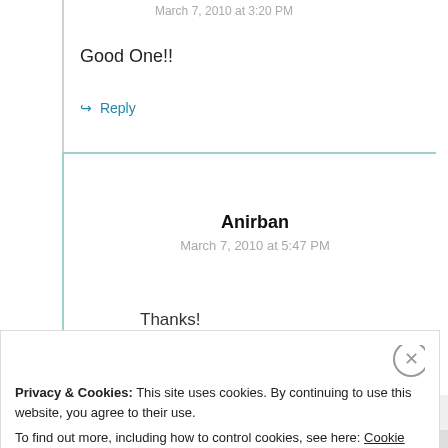March 7, 2010 at 3:20 PM
Good One!!
↪ Reply
Anirban
March 7, 2010 at 5:47 PM
Thanks!
Privacy & Cookies: This site uses cookies. By continuing to use this website, you agree to their use. To find out more, including how to control cookies, see here: Cookie Policy
Close and accept